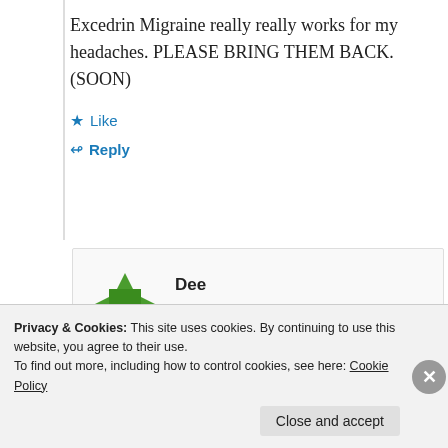Excedrin Migraine really really works for my headaches. PLEASE BRING THEM BACK. (SOON)
★ Like
↳ Reply
Dee
May 22, 2012 at 10:22 am
Privacy & Cookies: This site uses cookies. By continuing to use this website, you agree to their use.
To find out more, including how to control cookies, see here: Cookie Policy
Close and accept